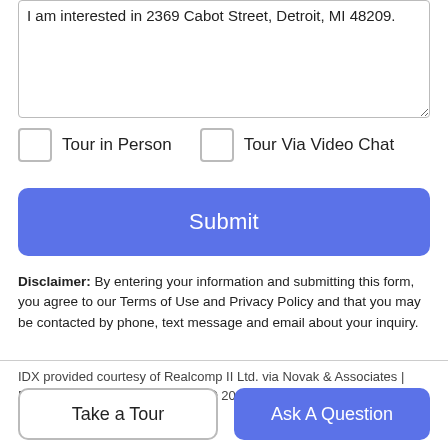I am interested in 2369 Cabot Street, Detroit, MI 48209.
Tour in Person
Tour Via Video Chat
Submit
Disclaimer: By entering your information and submitting this form, you agree to our Terms of Use and Privacy Policy and that you may be contacted by phone, text message and email about your inquiry.
IDX provided courtesy of Realcomp II Ltd. via Novak & Associates | Real Estate One and Realcomp. © 2022 Realcomp II Ltd.
Take a Tour
Ask A Question